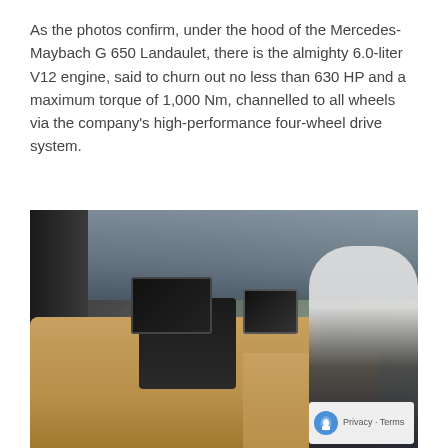As the photos confirm, under the hood of the Mercedes-Maybach G 650 Landaulet, there is the almighty 6.0-liter V12 engine, said to churn out no less than 630 HP and a maximum torque of 1,000 Nm, channelled to all wheels via the company's high-performance four-wheel drive system.
[Figure (photo): Interior of the Mercedes-Maybach G 650 Landaulet showing tan leather seats, dual tablet-style screens on the center console, a panoramic glass partition, and a person in a suit visible through the open door on the right side of the vehicle.]